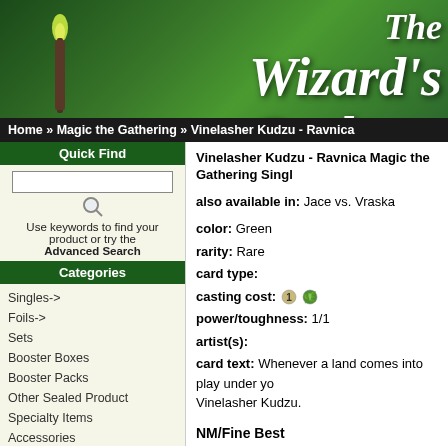[Figure (screenshot): The Wizard's Cupboard website header banner with green textured background and white stylized text]
Home » Magic the Gathering » Vinelasher Kudzu - Ravnica
Quick Find
Use keywords to find your product or try the Advanced Search
Categories
Singles->
Foils->
Sets
Booster Boxes
Booster Packs
Other Sealed Product
Specialty Items
Accessories
Other CCG's
Alternate Art Cards
Information
Blog
Dragon Sculptures
Company Details
Shipping & Returns
Vinelasher Kudzu - Ravnica Magic the Gathering Singles
also available in: Jace vs. Vraska
color: Green
rarity: Rare
card type:
casting cost: [mana icons]
power/toughness: 1/1
artist(s):
card text: Whenever a land comes into play under yo... Vinelasher Kudzu.
NM/Fine Best